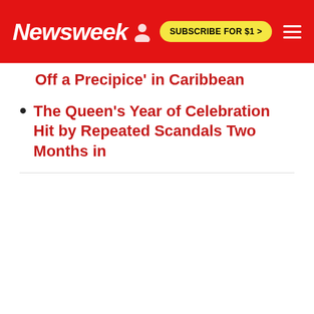Newsweek | SUBSCRIBE FOR $1 >
Off a Precipice' in Caribbean
The Queen's Year of Celebration Hit by Repeated Scandals Two Months in